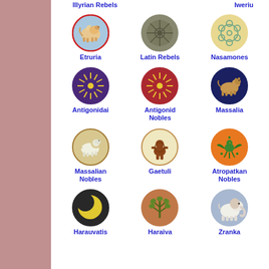[Figure (illustration): Grid of faction emblems/shields for a strategy game, showing circular badges with animals and symbols, each labeled with faction name]
Illyrian Rebels
Iweriu
Etruria
Latin Rebels
Nasamones
Antigonidai
Antigonid Nobles
Massalia
Massalian Nobles
Gaetuli
Atropatkan Nobles
Harauvatis
Haraiva
Zranka